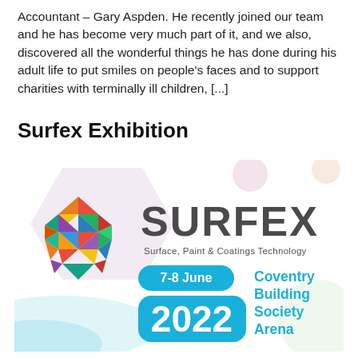Accountant – Gary Aspden. He recently joined our team and he has become very much part of it, and we also, discovered all the wonderful things he has done during his adult life to put smiles on people's faces and to support charities with terminally ill children, [...]
Surfex Exhibition
[Figure (logo): Surfex Exhibition logo and event details. Features a colorful geometric globe icon on the left, 'SURFEX' in large dark grey text, subtitle 'Surface, Paint & Coatings Technology', a blue rounded pill badge '7-8 June', '2022' in large white text on a blue background, and 'Coventry Building Society Arena' in blue text on the right.]